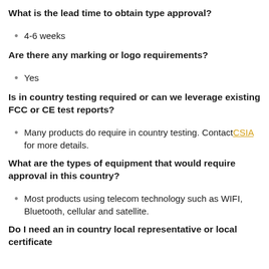What is the lead time to obtain type approval?
4-6 weeks
Are there any marking or logo requirements?
Yes
Is in country testing required or can we leverage existing FCC or CE test reports?
Many products do require in country testing. Contact CSIA for more details.
What are the types of equipment that would require approval in this country?
Most products using telecom technology such as WIFI, Bluetooth, cellular and satellite.
Do I need an in country local representative or local certificate